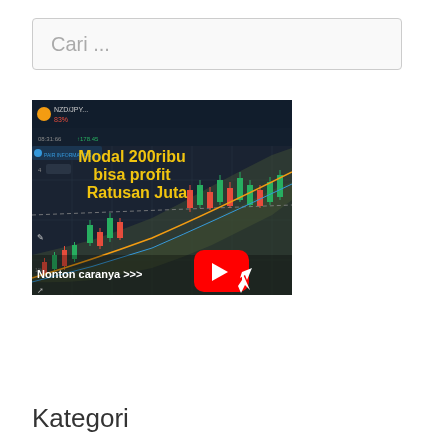Cari ...
[Figure (screenshot): Trading chart screenshot showing NZD/JPY candlestick chart with text overlays: 'Modal 200ribu bisa profit Ratusan Juta' in yellow, 'Nonton caranya >>>' in white with YouTube play button icon, and a cursor icon. Dark background with green and red candles and moving average bands.]
Kategori